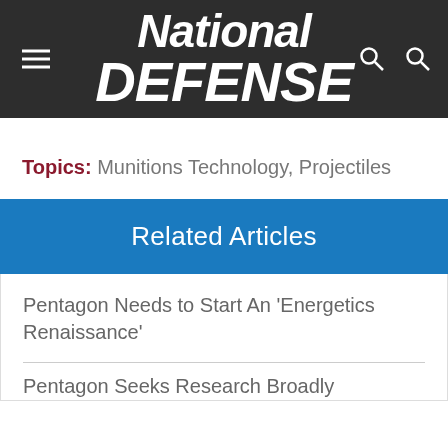National DEFENSE
Topics: Munitions Technology, Projectiles
Related Articles
Pentagon Needs to Start An 'Energetics Renaissance'
Pentagon Seeks Research Broadly...